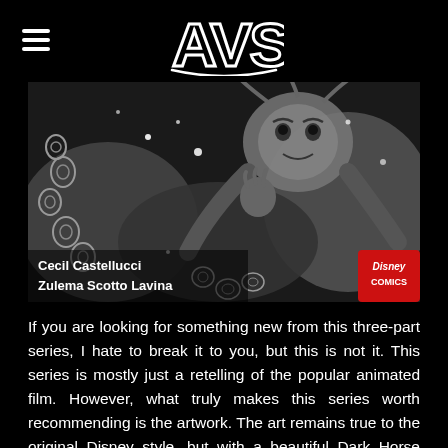AVS (logo)
[Figure (illustration): Black and white comic book illustration showing Ursula from The Little Mermaid with octopus tentacles, drawn in Disney style. Authors credited: Cecil Castellucci and Zulema Scotto Lavina. Disney Comics logo in bottom right.]
If you are looking for something new from this three-part series, I hate to break it to you, but this is not it. This series is mostly just a retelling of the popular animated film. However, what truly makes this series worth recommending is the artwork. The art remains true to the original Disney style, but with a beautiful Dark Horse bend. With Disney's character, they haven't missed a beat.